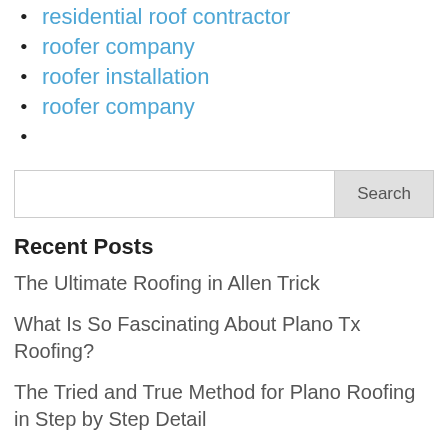residential roof contractor
roofer company
roofer installation
roofer company
Recent Posts
The Ultimate Roofing in Allen Trick
What Is So Fascinating About Plano Tx Roofing?
The Tried and True Method for Plano Roofing in Step by Step Detail